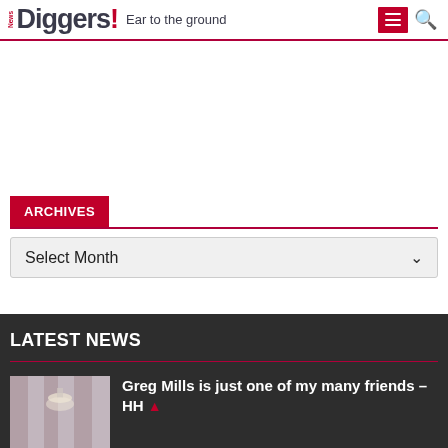News Diggers! Ear to the ground
[Figure (other): Advertisement blank space]
ARCHIVES
Select Month
LATEST NEWS
Greg Mills is just one of my many friends – HH